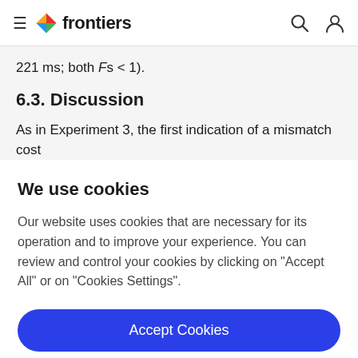frontiers
221 ms; both Fs < 1).
6.3. Discussion
As in Experiment 3, the first indication of a mismatch cost
We use cookies
Our website uses cookies that are necessary for its operation and to improve your experience. You can review and control your cookies by clicking on "Accept All" or on "Cookies Settings".
Accept Cookies
Cookies Settings